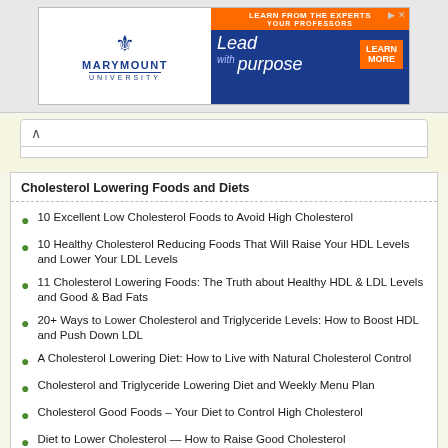[Figure (other): Marymount University advertisement banner with fleur-de-lis logo, orange bar reading LEARN FROM THE EXPERTS YOUR PROFESSORS, and Lead with purpose text with LEARN MORE button]
Cholesterol Lowering Foods and Diets
10 Excellent Low Cholesterol Foods to Avoid High Cholesterol
10 Healthy Cholesterol Reducing Foods That Will Raise Your HDL Levels and Lower Your LDL Levels
11 Cholesterol Lowering Foods: The Truth about Healthy HDL & LDL Levels and Good & Bad Fats
20+ Ways to Lower Cholesterol and Triglyceride Levels: How to Boost HDL and Push Down LDL
A Cholesterol Lowering Diet: How to Live with Natural Cholesterol Control
Cholesterol and Triglyceride Lowering Diet and Weekly Menu Plan
Cholesterol Good Foods – Your Diet to Control High Cholesterol
Diet to Lower Cholesterol — How to Raise Good Cholesterol